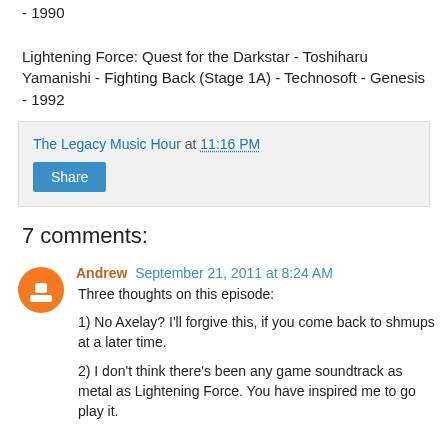Silver Surfer - Tim Follin - BCM II - Softwars Creations - NES - 1990
Lightening Force: Quest for the Darkstar - Toshiharu Yamanishi - Fighting Back (Stage 1A) - Technosoft - Genesis - 1992
The Legacy Music Hour at 11:16 PM
Share
7 comments:
Andrew September 21, 2011 at 8:24 AM
Three thoughts on this episode:
1) No Axelay? I'll forgive this, if you come back to shmups at a later time.
2) I don't think there's been any game soundtrack as metal as Lightening Force. You have inspired me to go play it.